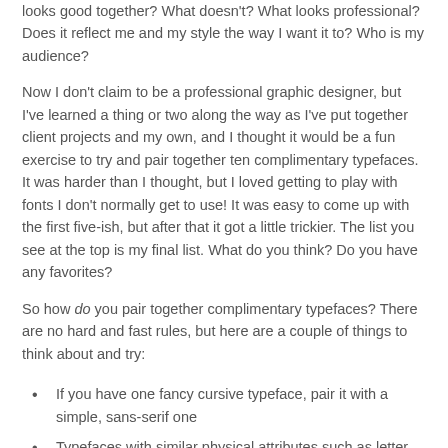looks good together? What doesn't? What looks professional? Does it reflect me and my style the way I want it to? Who is my audience?
Now I don't claim to be a professional graphic designer, but I've learned a thing or two along the way as I've put together client projects and my own, and I thought it would be a fun exercise to try and pair together ten complimentary typefaces. It was harder than I thought, but I loved getting to play with fonts I don't normally get to use! It was easy to come up with the first five-ish, but after that it got a little trickier. The list you see at the top is my final list. What do you think? Do you have any favorites?
So how do you pair together complimentary typefaces? There are no hard and fast rules, but here are a couple of things to think about and try:
If you have one fancy cursive typeface, pair it with a simple, sans-serif one
Typefaces with similar physical attributes such as letter width and height often go together well